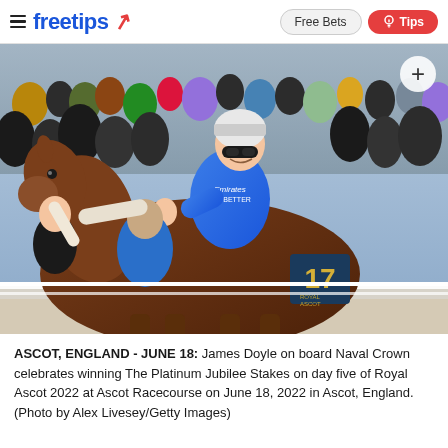freetips | Free Bets | Tips
[Figure (photo): James Doyle on board Naval Crown celebrating winning The Platinum Jubilee Stakes at Royal Ascot 2022, with a crowd in the background. Jockey in blue Emirates racing silks with number 17 saddlecloth.]
ASCOT, ENGLAND - JUNE 18: James Doyle on board Naval Crown celebrates winning The Platinum Jubilee Stakes on day five of Royal Ascot 2022 at Ascot Racecourse on June 18, 2022 in Ascot, England. (Photo by Alex Livesey/Getty Images)